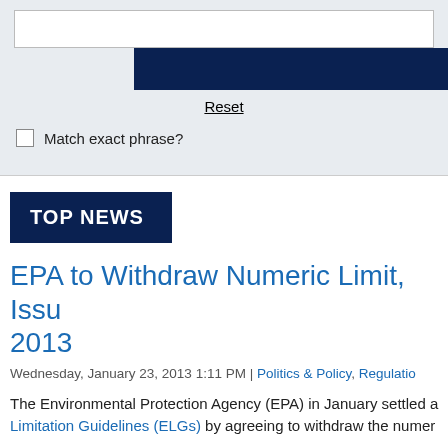[Figure (screenshot): Search form area with text input box, dark navy blue button bar, Reset link, and Match exact phrase checkbox on a light grey background]
Reset
Match exact phrase?
TOP NEWS
EPA to Withdraw Numeric Limit, Issu 2013
Wednesday, January 23, 2013 1:11 PM | Politics & Policy, Regulatio
The Environmental Protection Agency (EPA) in January settled a Limitation Guidelines (ELGs) by agreeing to withdraw the numer